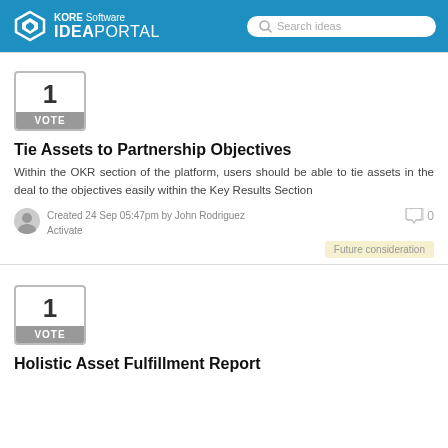KORE Software IDEA PORTAL
[Figure (screenshot): KORE Software Idea Portal logo with search bar on blue header]
Tie Assets to Partnership Objectives
Within the OKR section of the platform, users should be able to tie assets in the deal to the objectives easily within the Key Results Section
Created 24 Sep 05:47pm by John Rodriguez
Activate
Future consideration
Holistic Asset Fulfillment Report